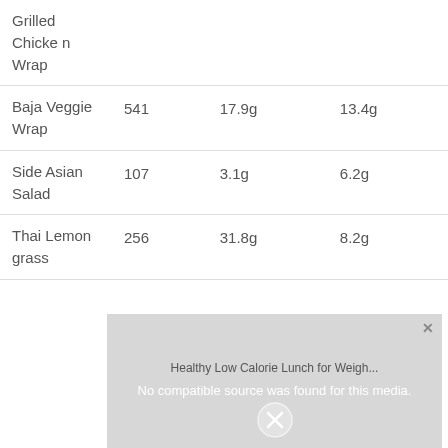| Grilled Chicken Wrap |  |  |  |
| Baja Veggie Wrap | 541 | 17.9g | 13.4g |
| Side Asian Salad | 107 | 3.1g | 6.2g |
| Thai Lemon grass | 256 | 31.8g | 8.2g |
[Figure (other): Video overlay popup with text 'Healthy Low Calorie Lunch for Weigh...' and 'No compatible source was found for this media.' with a close button and X icon]